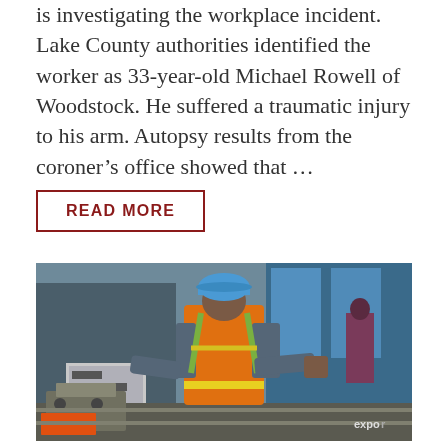is investigating the workplace incident. Lake County authorities identified the worker as 33-year-old Michael Rowell of Woodstock. He suffered a traumatic injury to his arm. Autopsy results from the coroner's office showed that …
READ MORE
[Figure (photo): Construction worker wearing an orange high-visibility safety vest, blue hard hat, and plaid shirt, viewed from behind, operating equipment at a worksite. Background shows a building and signage.]